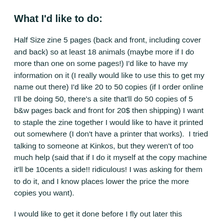What I'd like to do:
Half Size zine 5 pages (back and front, including cover and back) so at least 18 animals (maybe more if I do more than one on some pages!) I'd like to have my information on it (I really would like to use this to get my name out there) I'd like 20 to 50 copies (if I order online I'll be doing 50, there's a site that'll do 50 copies of 5 b&w pages back and front for 20$ then shipping) I want to staple the zine together I would like to have it printed out somewhere (I don't have a printer that works).  I tried talking to someone at Kinkos, but they weren't of too much help (said that if I do it myself at the copy machine it'll be 10cents a side!! ridiculous! I was asking for them to do it, and I know places lower the price the more copies you want).
I would like to get it done before I fly out later this